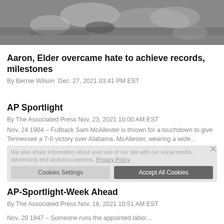[Figure (photo): Black and white sports photo showing a baseball player sliding, with another player and dirt visible]
Aaron, Elder overcame hate to achieve records, milestones
By Bernie Wilson Dec. 27, 2021 03:41 PM EST
AP Sportlight
By The Associated Press Nov. 23, 2021 10:00 AM EST
Nov. 24 1904 – Fullback Sam McAllester is thrown for a touchdown to give Tennessee a 7-0 victory over Alabama. McAllester, wearing a wide...
We also share information about your use of our site with our social media, advertising and analytics partners. Privacy Policy
AP-Sportlight-Week Ahead
By The Associated Press Nov. 18, 2021 10:51 AM EST
Nov. 20 1847 – Someone runs the appointed labor...